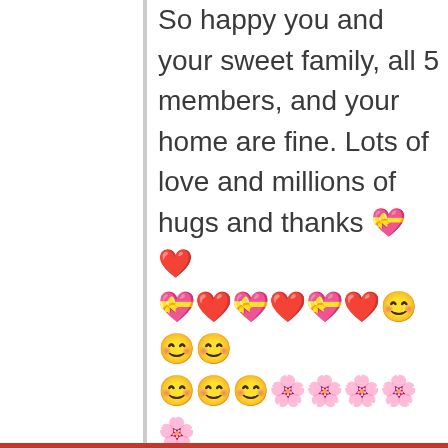So happy you and your sweet family, all 5 members, and your home are fine. Lots of love and millions of hugs and thanks 💝❤️ 💝❤️💝❤️💝❤️😊😊😊 😊😊😊🌸🌸🌸🌸🌸
Liked by 1 person
Bipolar1Blog , September 3, 2020 at 5:09 pm    Reply